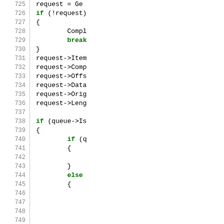[Figure (screenshot): Source code listing showing C++ code with line numbers 725-755. Lines show request handling, queue checks, and conditional branching using if/else statements. Keywords 'if', 'break', 'else' are highlighted in bold green.]